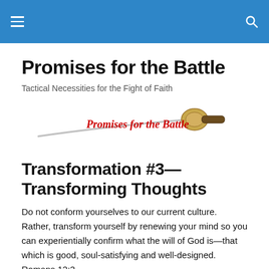Promises for the Battle
Tactical Necessities for the Fight of Faith
[Figure (logo): Logo for 'Promises for the Battle' — cursive red text over a swooping silver sword with a gold guard]
Transformation #3—Transforming Thoughts
Do not conform yourselves to our current culture. Rather, transform yourself by renewing your mind so you can experientially confirm what the will of God is—that which is good, soul-satisfying and well-designed. Romans 12:2